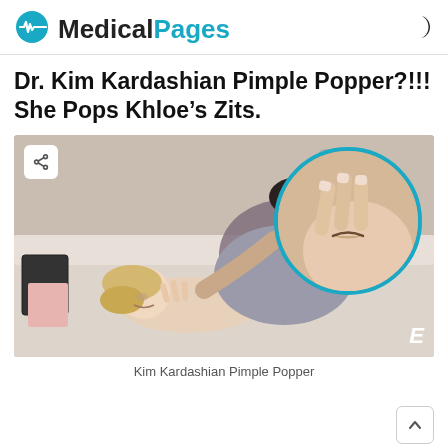Medical Pages
Dr. Kim Kardashian Pimple Popper?!!! She Pops Khloe’s Zits.
[Figure (photo): TV still showing two women on a bed, one popping the other's pimple, with a circular close-up overlay in teal border showing the action. E! network watermark in bottom right.]
Kim Kardashian Pimple Popper